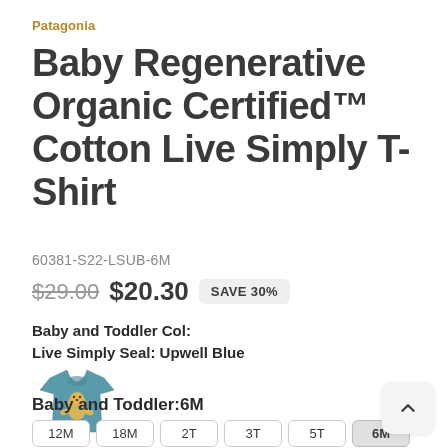Patagonia
Baby Regenerative Organic Certified™ Cotton Live Simply T-Shirt
60381-S22-LSUB-6M
$29.00  $20.30  SAVE 30%
Baby and Toddler Col:
Live Simply Seal: Upwell Blue
[Figure (photo): Small blue baby t-shirt with a seal graphic on the front]
Baby and Toddler:6M
12M  18M  2T  3T  5T  6M